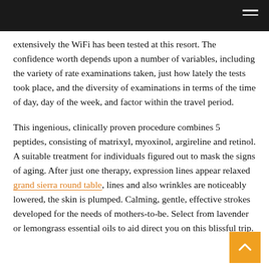extensively the WiFi has been tested at this resort. The confidence worth depends upon a number of variables, including the variety of rate examinations taken, just how lately the tests took place, and the diversity of examinations in terms of the time of day, day of the week, and factor within the travel period.
This ingenious, clinically proven procedure combines 5 peptides, consisting of matrixyl, myoxinol, argireline and retinol. A suitable treatment for individuals figured out to mask the signs of aging. After just one therapy, expression lines appear relaxed grand sierra round table, lines and also wrinkles are noticeably lowered, the skin is plumped. Calming, gentle, effective strokes developed for the needs of mothers-to-be. Select from lavender or lemongrass essential oils to aid direct you on this blissful trip.